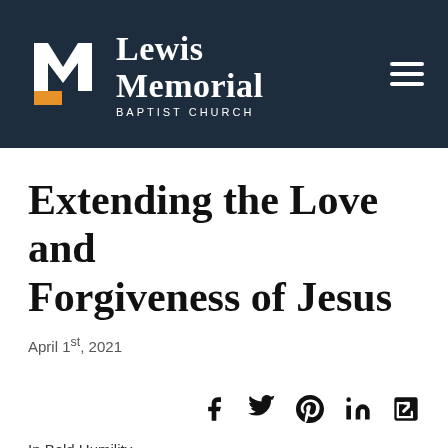[Figure (logo): Lewis Memorial Baptist Church logo with stylized M icon in orange and white on dark navy background, with hamburger menu icon on right]
Extending the Love and Forgiveness of Jesus
April 1st, 2021
[Figure (infographic): Social sharing icons: Facebook, Twitter, Pinterest, LinkedIn, and external link]
In Bold Humility